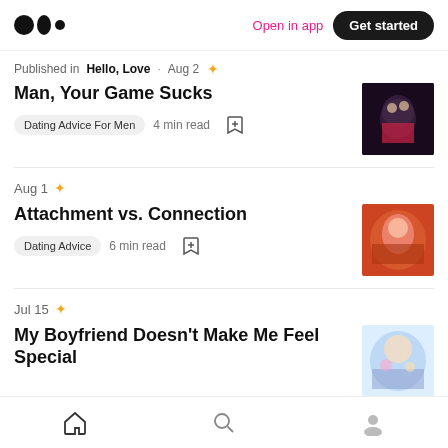Medium logo | Open in app | Get started
Published in Hello, Love · Aug 2 ✦
Man, Your Game Sucks
Dating Advice For Men  4 min read
Aug 1 ✦
Attachment vs. Connection
Dating Advice  6 min read
Jul 15 ✦
My Boyfriend Doesn't Make Me Feel Special
Home  Search  Profile